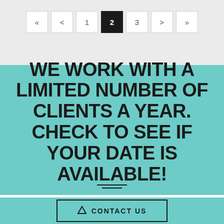Pagination: « < 1 2 3 > »
WE WORK WITH A LIMITED NUMBER OF CLIENTS A YEAR. CHECK TO SEE IF YOUR DATE IS AVAILABLE!
CONTACT US